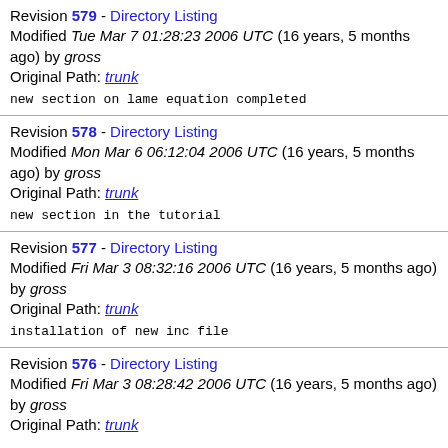Revision 579 - Directory Listing
Modified Tue Mar 7 01:28:23 2006 UTC (16 years, 5 months ago) by gross
Original Path: trunk
new section on lame equation completed
Revision 578 - Directory Listing
Modified Mon Mar 6 06:12:04 2006 UTC (16 years, 5 months ago) by gross
Original Path: trunk
new section in the tutorial
Revision 577 - Directory Listing
Modified Fri Mar 3 08:32:16 2006 UTC (16 years, 5 months ago) by gross
Original Path: trunk
installation of new inc file
Revision 576 - Directory Listing
Modified Fri Mar 3 08:28:42 2006 UTC (16 years, 5 months ago) by gross
Original Path: trunk